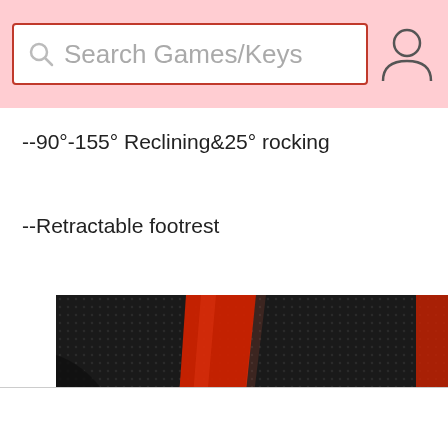Search Games/Keys
--90°-155° Reclining&25° rocking
--Retractable footrest
[Figure (photo): Close-up photo of a gaming chair showing black textured material with red accent stripe]
[Figure (infographic): Bottom action bar with heart/wishlist icon, Buy Now button in pink with red border, shopping cart icon, and green chat bubble button]